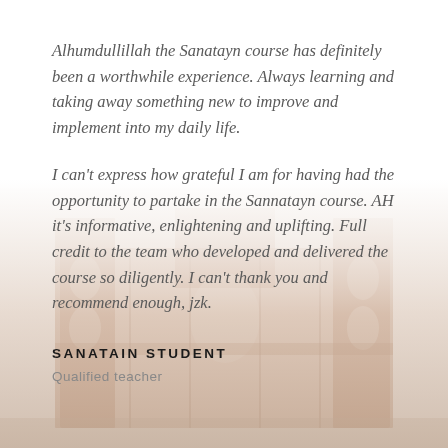Alhumdullillah the Sanatayn course has definitely been a worthwhile experience. Always learning and taking away something new to improve and implement into my daily life.
I can't express how grateful I am for having had the opportunity to partake in the Sannatayn course. AH it's informative, enlightening and uplifting. Full credit to the team who developed and delivered the course so diligently. I can't thank you and recommend enough, jzk.
SANATAIN STUDENT
Qualified teacher